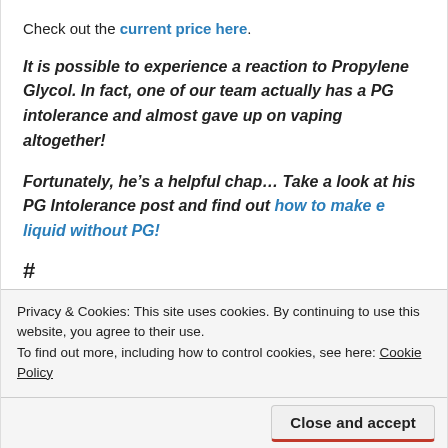Check out the current price here.
It is possible to experience a reaction to Propylene Glycol. In fact, one of our team actually has a PG intolerance and almost gave up on vaping altogether!
Fortunately, he’s a helpful chap… Take a look at his PG Intolerance post and find out how to make e liquid without PG!
Privacy & Cookies: This site uses cookies. By continuing to use this website, you agree to their use.
To find out more, including how to control cookies, see here: Cookie Policy
Close and accept